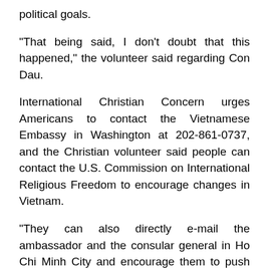political goals.
"That being said, I don’t doubt that this happened," the volunteer said regarding Con Dau.
International Christian Concern urges Americans to contact the Vietnamese Embassy in Washington at 202-861-0737, and the Christian volunteer said people can contact the U.S. Commission on International Religious Freedom to encourage changes in Vietnam.
"They can also directly e-mail the ambassador and the consular general in Ho Chi Minh City and encourage them to push for more reform," he said. "And they can contact companies that are having products made in Vietnam and encourage the business leaders to speak out for change in those countries. You go to JC Penney today in the men’s